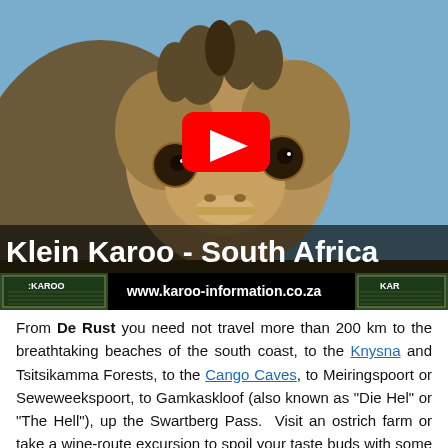[Figure (screenshot): YouTube video thumbnail showing a close-up of an ostrich face against a blue sky background, with a red YouTube play button in the center, the video title 'Klein Karoo - South Africa' in white bold text at the bottom, and logos plus www.karoo-information.co.za in the bottom bar.]
From De Rust you need not travel more than 200 km to the breathtaking beaches of the south coast, to the Knysna and Tsitsikamma Forests, to the Cango Caves, to Meiringspoort or Seweweekspoort, to Gamkaskloof (also known as "Die Hel" or "The Hell"), up the Swartberg Pass.  Visit an ostrich farm or take a wine-route excursion to spoil your taste buds with some of the country's finest cuisine, or go fossil hunting on the